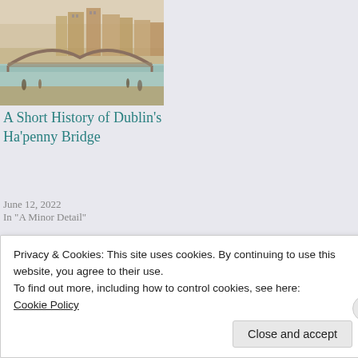[Figure (illustration): Historical painting/illustration of Dublin's Ha'penny Bridge, showing an arched bridge over a river with buildings and figures in the background]
A Short History of Dublin's Ha'penny Bridge
June 12, 2022
In "A Minor Detail"
This entry was posted in A Hidden Motive, Fitzgeralds of Dublin Series, History and tagged A Hidden Motive, Dublin, Historical Fiction, Irish History, Kindle Unlimited, Paperback, The Fitzgeralds of Dublin Series, Victorian Saga. Bookmark the permalink.
Privacy & Cookies: This site uses cookies. By continuing to use this website, you agree to their use.
To find out more, including how to control cookies, see here: Cookie Policy
Close and accept